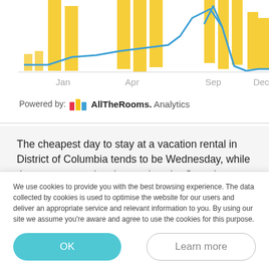[Figure (continuous-plot): Top portion of a bar and line chart showing monthly data from Jan to Dec, with gold/yellow bars and a blue line. Only the top part of the chart is visible, clipped at the top of this page segment. X-axis labels: Jan, Apr, Sep, Dec.]
Powered by: AllTheRooms. Analytics
The cheapest day to stay at a vacation rental in District of Columbia tends to be Wednesday, while the most expensive day tends to be Saturday. Vacation homes in District of Columbia tend to be busiest on Saturdays, while it tends to be much quieter on Mondays.
The most expensive month to stay in a vacation rental in District of Columbia is in April, while the cheapest month is
We use cookies to provide you with the best browsing experience. The data collected by cookies is used to optimise the website for our users and deliver an appropriate service and relevant information to you. By using our site we assume you're aware and agree to use the cookies for this purpose.